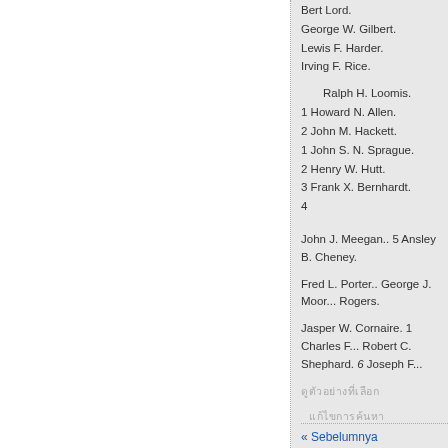Bert Lord.
George W. Gilbert.
Lewis F. Harder.
Irving F. Rice.
Ralph H. Loomis.
1 Howard N. Allen.
2 John M. Hackett.
1 John S. N. Sprague.
2 Henry W. Hutt.
3 Frank X. Bernhardt.
4
John J. Meegan.. 5 Ansley B. Cheney.
Fred L. Porter.. George J. Moore.. Rogers.
Jasper W. Cornaire. 1 Charles F... Robert C. Shephard. 6 Joseph F...
ดูตัวอย่างที่เลือก
แก้ไขการค้นหา
« Sebelumnya